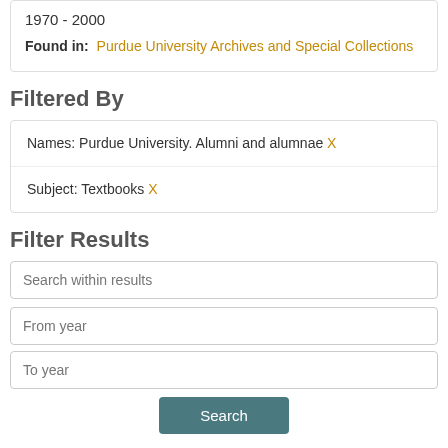1970 - 2000
Found in: Purdue University Archives and Special Collections
Filtered By
Names: Purdue University. Alumni and alumnae X
Subject: Textbooks X
Filter Results
Search within results
From year
To year
Search